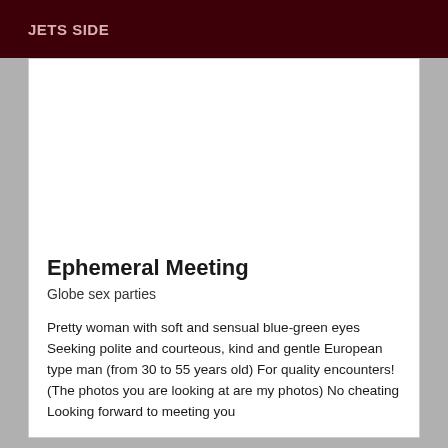JETS SIDE
Ephemeral Meeting
Globe sex parties
Pretty woman with soft and sensual blue-green eyes Seeking polite and courteous, kind and gentle European type man (from 30 to 55 years old) For quality encounters! (The photos you are looking at are my photos) No cheating Looking forward to meeting you